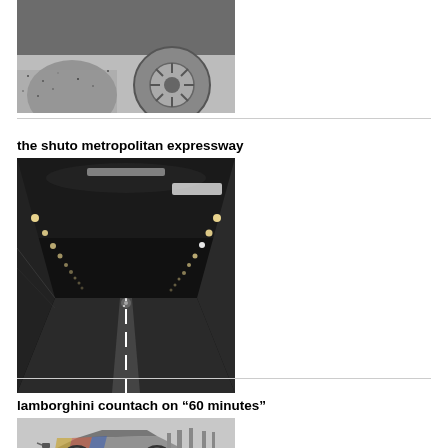[Figure (photo): Black and white photo of car wheels/tires on pavement, gravel surface visible]
[Figure (photo): Black and white photo of a tunnel road, the Shuto Metropolitan Expressway, with lights along the ceiling and sides, curved road perspective]
the shuto metropolitan expressway
lamborghini countach on “60 minutes”
[Figure (photo): Partial photo of a Lamborghini Countach, colorful body visible, outdoor setting]